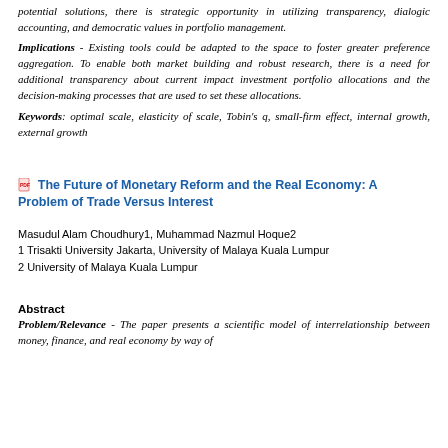potential solutions, there is strategic opportunity in utilizing transparency, dialogic accounting, and democratic values in portfolio management.
Implications - Existing tools could be adapted to the space to foster greater preference aggregation. To enable both market building and robust research, there is a need for additional transparency about current impact investment portfolio allocations and the decision-making processes that are used to set these allocations.
Keywords: optimal scale, elasticity of scale, Tobin's q, small-firm effect, internal growth, external growth
The Future of Monetary Reform and the Real Economy: A Problem of Trade Versus Interest
Masudul Alam Choudhury1, Muhammad Nazmul Hoque2
1 Trisakti University Jakarta, University of Malaya Kuala Lumpur
2 University of Malaya Kuala Lumpur
Abstract
Problem/Relevance - The paper presents a scientific model of interrelationship between money, finance, and real economy by way of